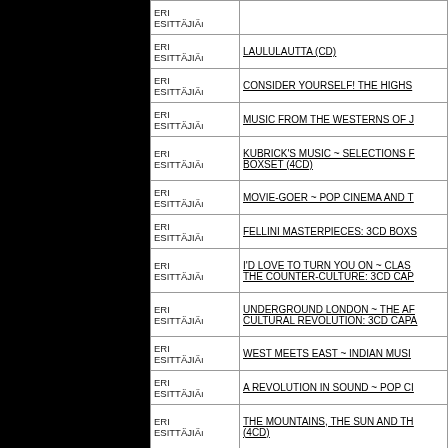| Artist | Title |
| --- | --- |
| ERI ESITTÄJIÄ | LAULULAUTTA (CD) |
| ERI ESITTÄJIÄ | CONSIDER YOURSELF! THE HIGHS... |
| ERI ESITTÄJIÄ | MUSIC FROM THE WESTERNS OF J... |
| ERI ESITTÄJIÄ | KUBRICK'S MUSIC ~ SELECTIONS F... BOXSET (4CD) |
| ERI ESITTÄJIÄ | MOVIE-GOER ~ POP CINEMA AND T... |
| ERI ESITTÄJIÄ | FELLINI MASTERPIECES: 3CD BOXS... |
| ERI ESITTÄJIÄ | I'D LOVE TO TURN YOU ON ~ CLASS... THE COUNTER-CULTURE: 3CD CAP... |
| ERI ESITTÄJIÄ | UNDERGROUND LONDON ~ THE AF... CULTURAL REVOLUTION: 3CD CAPA... |
| ERI ESITTÄJIÄ | WEST MEETS EAST ~ INDIAN MUSI... |
| ERI ESITTÄJIÄ | A REVOLUTION IN SOUND ~ POP CI... |
| ERI ESITTÄJIÄ | THE MOUNTAINS, THE SUN AND TH... (4CD) |
| ERI ESITTÄJIÄ | Notes From The Underground - Radica... |
| ERI ESITTÄJIÄ | THE GOLDEN AGE OF PETER BOGD... |
| ERI ESITTÄJIÄ | PAPER MOON: O/S/T (CD) |
| ERI ESITTÄJIÄ | RIDERS IN THE SKY - SCENES FRO... |
| ERI ESITTÄJIÄ | RIDING THE CURL - THE SURF MUS... |
| ERI ESITTÄJIÄ | POP! GOES THE WEST (CD) |
| ERI ESITTÄJIÄ | I'D LOVE TO TURN YOU ON VOL... |